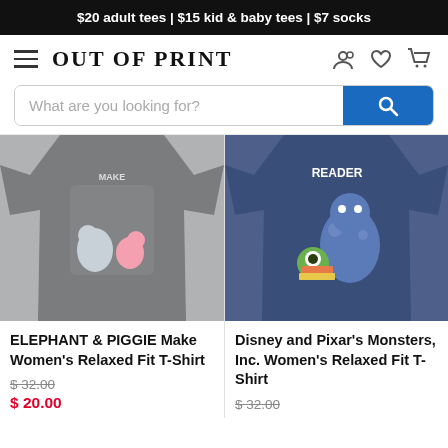$20 adult tees | $15 kid & baby tees | $7 socks
Out of Print
[Figure (screenshot): Navigation bar with hamburger menu, site title 'Out of Print', and icons for account, wishlist, and cart]
[Figure (screenshot): Search bar with placeholder 'What are you looking for?' and blue search button]
[Figure (photo): Gray women's relaxed fit t-shirt with Elephant & Piggie characters printed on front]
ELEPHANT & PIGGIE Make Women's Relaxed Fit T-Shirt
$ 32.00
$ 20.00
[Figure (photo): Blue women's relaxed fit t-shirt with Disney Pixar Monsters Inc. characters Mike and Sulley printed on front]
Disney and Pixar's Monsters, Inc. Women's Relaxed Fit T-Shirt
$ 32.00